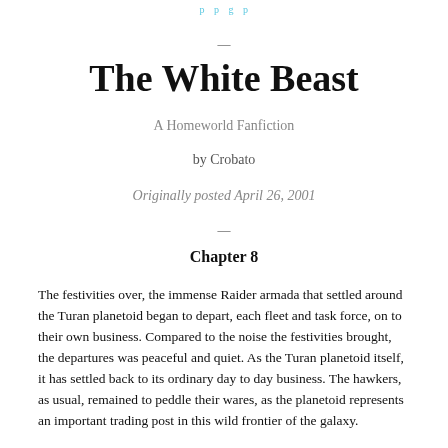… p … g … p …
—
The White Beast
A Homeworld Fanfiction
by Crobato
Originally posted April 26, 2001
—
Chapter 8
The festivities over, the immense Raider armada that settled around the Turan planetoid began to depart, each fleet and task force, on to their own business. Compared to the noise the festivities brought, the departures was peaceful and quiet. As the Turan planetoid itself, it has settled back to its ordinary day to day business. The hawkers, as usual, remained to peddle their wares, as the planetoid represents an important trading post in this wild frontier of the galaxy.